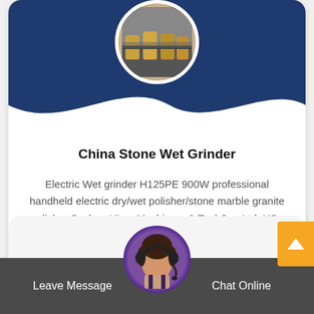[Figure (photo): Circular photo of industrial stone grinding machinery equipment at top of card]
China Stone Wet Grinder
Electric Wet grinder H125PE 900W professional handheld electric dry/wet polisher/stone marble granite polisher Suzhou Hizar Machinery & Tool Co., Ltd. US..
[Figure (photo): Circular avatar of female customer service representative with headset]
Leave Message
Chat Online